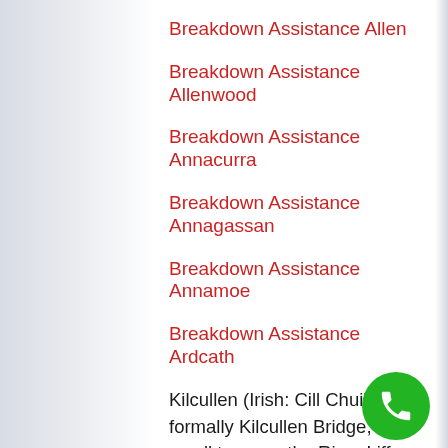Breakdown Assistance Allen
Breakdown Assistance Allenwood
Breakdown Assistance Annacurra
Breakdown Assistance Annagassan
Breakdown Assistance Annamoe
Breakdown Assistance Ardcath
Kilcullen (Irish: Cill Chuilinn), formally Kilcullen Bridge, is a small town on the River Liffey in County Kildare, Ireland. Its population of 3,473 (2011 Census[2] makes it the 12th largest settlement in County Kildare and the fastest growing in the county, having doubled in population